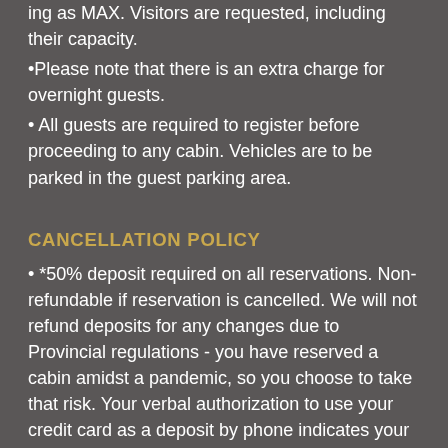ing as MAX. Visitors are requested, including their capacity.
•Please note that there is an extra charge for overnight guests.
• All guests are required to register before proceeding to any cabin. Vehicles are to be parked in the guest parking area.
CANCELLATION POLICY
• *50% deposit required on all reservations. Non-refundable if reservation is cancelled. We will not refund deposits for any changes due to Provincial regulations - you have reserved a cabin amidst a pandemic, so you choose to take that risk. Your verbal authorization to use your credit card as a deposit by phone indicates your compliance with the above reservation policy. The balance of the cabin is due upon arrival. We kindly ask that the remainder be paid by Interac or cash, if possible.